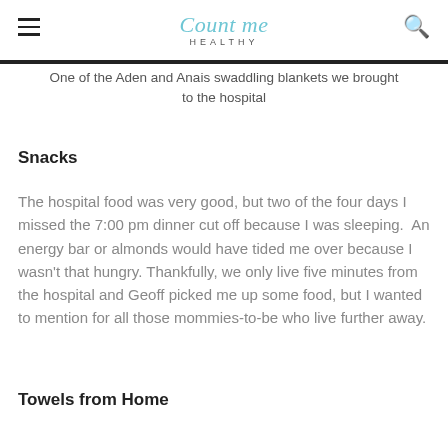Count me HEALTHY
One of the Aden and Anais swaddling blankets we brought to the hospital
Snacks
The hospital food was very good, but two of the four days I missed the 7:00 pm dinner cut off because I was sleeping.  An energy bar or almonds would have tided me over because I wasn't that hungry. Thankfully, we only live five minutes from the hospital and Geoff picked me up some food, but I wanted to mention for all those mommies-to-be who live further away.
Towels from Home